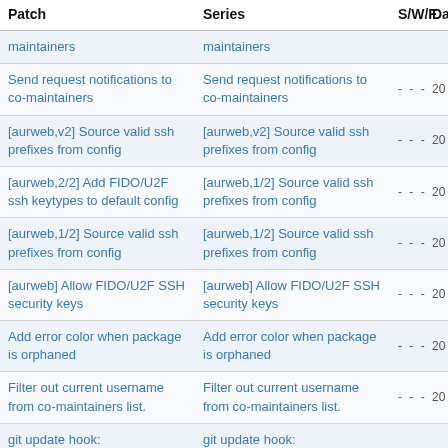| Patch | Series | S/W/F | Da |
| --- | --- | --- | --- |
| maintainers | maintainers |  |  |
| Send request notifications to co-maintainers | Send request notifications to co-maintainers | - - - | 20 |
| [aurweb,v2] Source valid ssh prefixes from config | [aurweb,v2] Source valid ssh prefixes from config | - - - | 20 |
| [aurweb,2/2] Add FIDO/U2F ssh keytypes to default config | [aurweb,1/2] Source valid ssh prefixes from config | - - - | 20 |
| [aurweb,1/2] Source valid ssh prefixes from config | [aurweb,1/2] Source valid ssh prefixes from config | - - - | 20 |
| [aurweb] Allow FIDO/U2F SSH security keys | [aurweb] Allow FIDO/U2F SSH security keys | - - - | 20 |
| Add error color when package is orphaned | Add error color when package is orphaned | - - - | 20 |
| Filter out current username from co-maintainers list. | Filter out current username from co-maintainers list. | - - - | 20 |
| git update hook: | git update hook: |  |  |